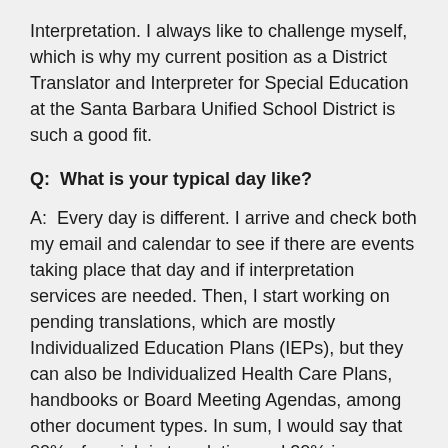Interpretation. I always like to challenge myself, which is why my current position as a District Translator and Interpreter for Special Education at the Santa Barbara Unified School District is such a good fit.
Q:  What is your typical day like?
A:  Every day is different. I arrive and check both my email and calendar to see if there are events taking place that day and if interpretation services are needed. Then, I start working on pending translations, which are mostly Individualized Education Plans (IEPs), but they can also be Individualized Health Care Plans, handbooks or Board Meeting Agendas, among other document types. In sum, I would say that 80% of my job is translating and 20% is interpreting.
As for interpretation, we interpret at IEP meetings for high profile cases. Since I work in the Special Education Department, I have access to the Special Education Information System. That is where I can look up students'